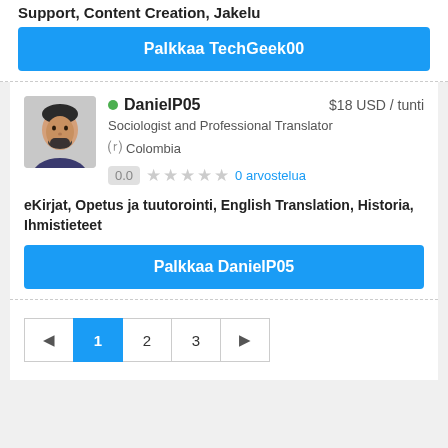Support, Content Creation, Jakelu
Palkkaa TechGeek00
[Figure (photo): Profile photo of DanielP05, a man with dark hair and beard]
DanielP05 $18 USD / tunti
Sociologist and Professional Translator
Colombia
0.0 0 arvostelua
eKirjat, Opetus ja tuutorointi, English Translation, Historia, Ihmistieteet
Palkkaa DanielP05
1 2 3